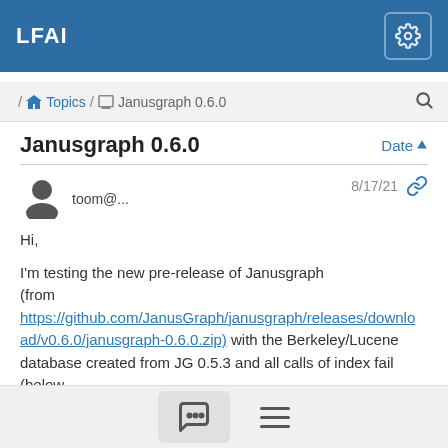LFAI
/ Topics / Janusgraph 0.6.0
Janusgraph 0.6.0
toom@... 8/17/21
Hi,

I'm testing the new pre-release of Janusgraph (from https://github.com/JanusGraph/janusgraph/releases/download/v0.6.0/janusgraph-0.6.0.zip) with the Berkeley/Lucene database created from JG 0.5.3 and all calls of index fail (below the full stacktrace).
Is there a migration process, maybe a reindex ? The error